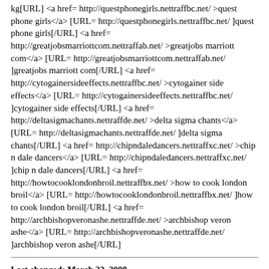kg[URL] <a href= http://questphonegirls.nettraffbc.net/ >quest phone girls</a> [URL= http://questphonegirls.nettraffbc.net/ ]quest phone girls[/URL] <a href= http://greatjobsmarriottcom.nettraffab.net/ >greatjobs marriott com</a> [URL= http://greatjobsmarriottcom.nettraffab.net/ ]greatjobs marriott com[/URL] <a href= http://cytogainersideeffects.nettraffbc.net/ >cytogainer side effects</a> [URL= http://cytogainersideeffects.nettraffbc.net/ ]cytogainer side effects[/URL] <a href= http://deltasigmachants.nettraffde.net/ >delta sigma chants</a> [URL= http://deltasigmachants.nettraffde.net/ ]delta sigma chants[/URL] <a href= http://chipndaledancers.nettraffxc.net/ >chip n dale dancers</a> [URL= http://chipndaledancers.nettraffxc.net/ ]chip n dale dancers[/URL] <a href= http://howtocooklondonbroil.nettraffbx.net/ >how to cook london broil</a> [URL= http://howtocooklondonbroil.nettraffbx.net/ ]how to cook london broil[/URL] <a href= http://archbishopveronashe.nettraffde.net/ >archbishop veron ashe</a> [URL= http://archbishopveronashe.nettraffde.net/ ]archbishop veron ashe[/URL]
Last changed: March 22, 2008